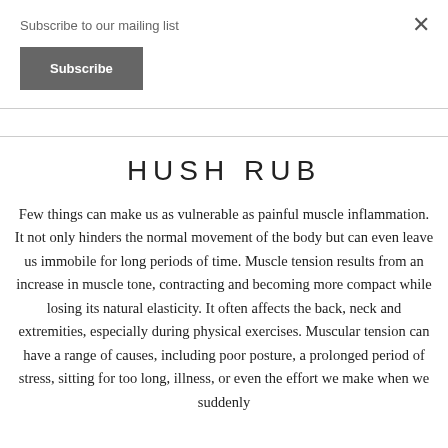Subscribe to our mailing list
Subscribe
HUSH RUB
Few things can make us as vulnerable as painful muscle inflammation. It not only hinders the normal movement of the body but can even leave us immobile for long periods of time. Muscle tension results from an increase in muscle tone, contracting and becoming more compact while losing its natural elasticity. It often affects the back, neck and extremities, especially during physical exercises. Muscular tension can have a range of causes, including poor posture, a prolonged period of stress, sitting for too long, illness, or even the effort we make when we suddenly